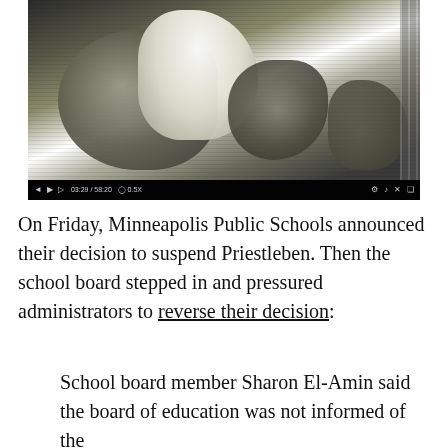[Figure (screenshot): Video player screenshot showing a blurry, dark image of people, with video controls at the bottom showing timestamp 03:29 / 58:20 at 0.5x speed]
On Friday, Minneapolis Public Schools announced their decision to suspend Priestleben. Then the school board stepped in and pressured administrators to reverse their decision:
School board member Sharon El-Amin said the board of education was not informed of the decision to place Priestleben on administrative